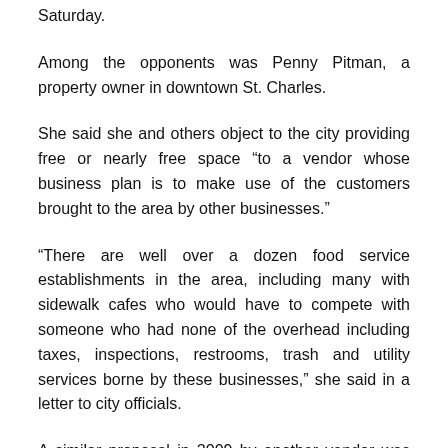Saturday.
Among the opponents was Penny Pitman, a property owner in downtown St. Charles.
She said she and others object to the city providing free or nearly free space “to a vendor whose business plan is to make use of the customers brought to the area by other businesses.”
“There are well over a dozen food service establishments in the area, including many with sidewalk cafes who would have to compete with someone who had none of the overhead including taxes, inspections, restrooms, trash and utility services borne by these businesses,” she said in a letter to city officials.
A similar proposal in 2009 by another vendor was withdrawn